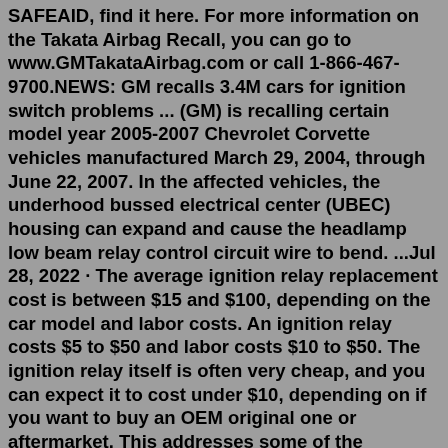SAFEAID, find it here. For more information on the Takata Airbag Recall, you can go to www.GMTakataAirbag.com or call 1-866-467-9700.NEWS: GM recalls 3.4M cars for ignition switch problems ... (GM) is recalling certain model year 2005-2007 Chevrolet Corvette vehicles manufactured March 29, 2004, through June 22, 2007. In the affected vehicles, the underhood bussed electrical center (UBEC) housing can expand and cause the headlamp low beam relay control circuit wire to bend. ...Jul 28, 2022 · The average ignition relay replacement cost is between $15 and $100, depending on the car model and labor costs. An ignition relay costs $5 to $50 and labor costs $10 to $50. The ignition relay itself is often very cheap, and you can expect it to cost under $10, depending on if you want to buy an OEM original one or aftermarket. This addresses some of the electrical issues owners of these trucks may experience Colorado or GMC Canyon. How come the power to the radio and dash stays on ...Check the condition of the pins in the electrical